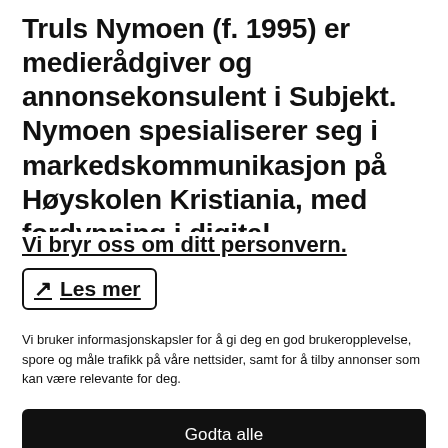Truls Nymoen (f. 1995) er medierådgiver og annonsekonsulent i Subjekt. Nymoen spesialiserer seg i markedskommunikasjon på Høyskolen Kristiania, med fordypning i digital markedsføring
Vi bryr oss om ditt personvern.
Les mer
Vi bruker informasjonskapsler for å gi deg en god brukeropplevelse, spore og måle trafikk på våre nettsider, samt for å tilby annonser som kan være relevante for deg.
Godta alle
Preferanser